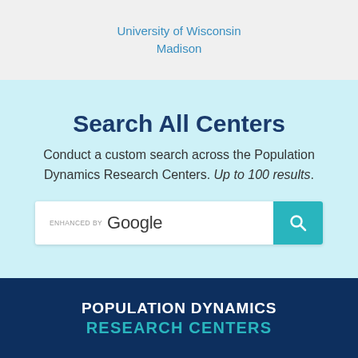University of Wisconsin Madison
Search All Centers
Conduct a custom search across the Population Dynamics Research Centers. Up to 100 results.
[Figure (screenshot): Google custom search bar with teal search button and magnifying glass icon]
POPULATION DYNAMICS RESEARCH CENTERS